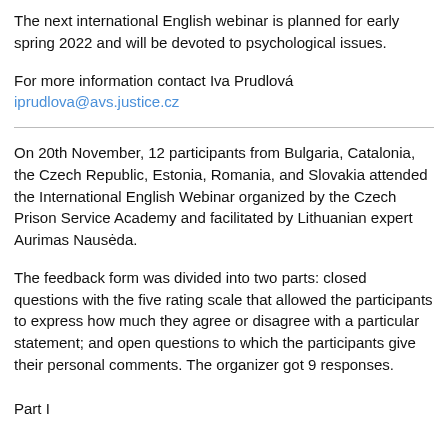The next international English webinar is planned for early spring 2022 and will be devoted to psychological issues.
For more information contact Iva Prudlová iprudlova@avs.justice.cz
On 20th November, 12 participants from Bulgaria, Catalonia, the Czech Republic, Estonia, Romania, and Slovakia attended the International English Webinar organized by the Czech Prison Service Academy and facilitated by Lithuanian expert Aurimas Nausėda.
The feedback form was divided into two parts: closed questions with the five rating scale that allowed the participants to express how much they agree or disagree with a particular statement; and open questions to which the participants give their personal comments. The organizer got 9 responses.
Part I